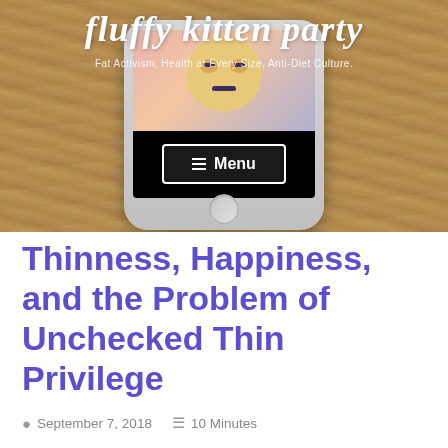[Figure (screenshot): Website header for 'fluffy kitten party' blog showing a smartphone on a wooden background. The phone screen displays an angry emoji face and a menu button. Blog title in cursive white text reads 'fluffy kitten party' with subtitle 'Fat Activism, Health at Every Size, Anti-Diet Culture.']
Thinness, Happiness, and the Problem of Unchecked Thin Privilege
September 7, 2018   10 Minutes